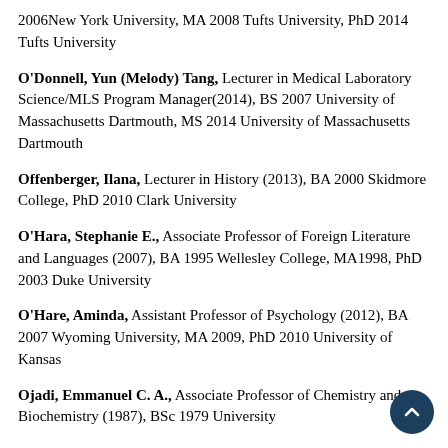2006New York University, MA 2008 Tufts University, PhD 2014 Tufts University
O'Donnell, Yun (Melody) Tang, Lecturer in Medical Laboratory Science/MLS Program Manager(2014), BS 2007 University of Massachusetts Dartmouth, MS 2014 University of Massachusetts Dartmouth
Offenberger, Ilana, Lecturer in History (2013), BA 2000 Skidmore College, PhD 2010 Clark University
O'Hara, Stephanie E., Associate Professor of Foreign Literature and Languages (2007), BA 1995 Wellesley College, MA1998, PhD 2003 Duke University
O'Hare, Aminda, Assistant Professor of Psychology (2012), BA 2007 Wyoming University, MA 2009, PhD 2010 University of Kansas
Ojadi, Emmanuel C. A., Associate Professor of Chemistry and Biochemistry (1987), BSc 1979 University